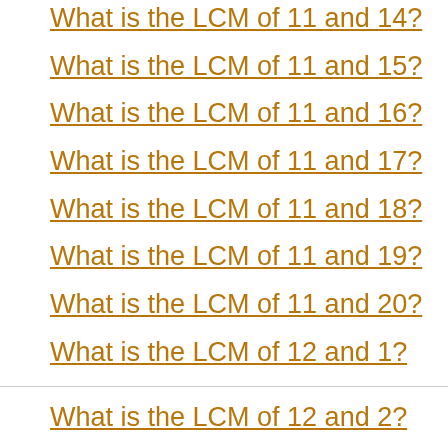What is the LCM of 11 and 14?
What is the LCM of 11 and 15?
What is the LCM of 11 and 16?
What is the LCM of 11 and 17?
What is the LCM of 11 and 18?
What is the LCM of 11 and 19?
What is the LCM of 11 and 20?
What is the LCM of 12 and 1?
What is the LCM of 12 and 2?